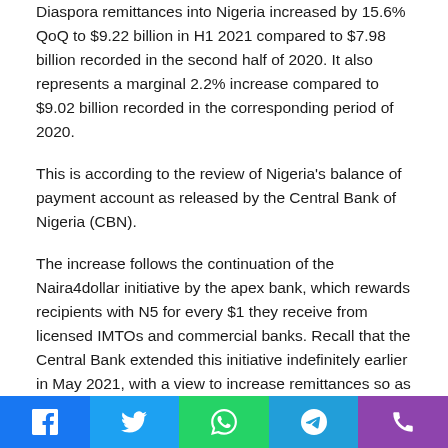Diaspora remittances into Nigeria increased by 15.6% QoQ to $9.22 billion in H1 2021 compared to $7.98 billion recorded in the second half of 2020. It also represents a marginal 2.2% increase compared to $9.02 billion recorded in the corresponding period of 2020.
This is according to the review of Nigeria's balance of payment account as released by the Central Bank of Nigeria (CBN).
The increase follows the continuation of the Naira4dollar initiative by the apex bank, which rewards recipients with N5 for every $1 they receive from licensed IMTOs and commercial banks. Recall that the Central Bank extended this initiative indefinitely earlier in May 2021, with a view to increase remittances so as to boost external reserves.
Although Nigeria's inflation rate has...
[Figure (other): Social media sharing bar with Facebook, Twitter, WhatsApp, Telegram, and Phone icons]